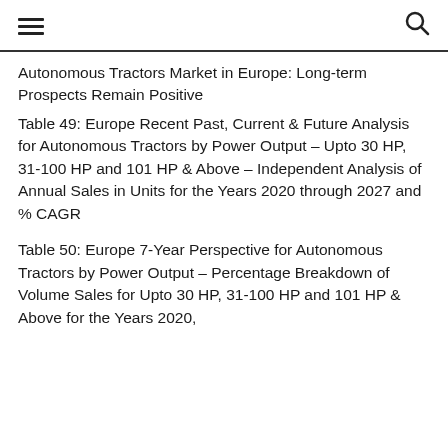[hamburger menu] [search icon]
Autonomous Tractors Market in Europe: Long-term Prospects Remain Positive
Table 49: Europe Recent Past, Current & Future Analysis for Autonomous Tractors by Power Output – Upto 30 HP, 31-100 HP and 101 HP & Above – Independent Analysis of Annual Sales in Units for the Years 2020 through 2027 and % CAGR
Table 50: Europe 7-Year Perspective for Autonomous Tractors by Power Output – Percentage Breakdown of Volume Sales for Upto 30 HP, 31-100 HP and 101 HP & Above for the Years 2020,